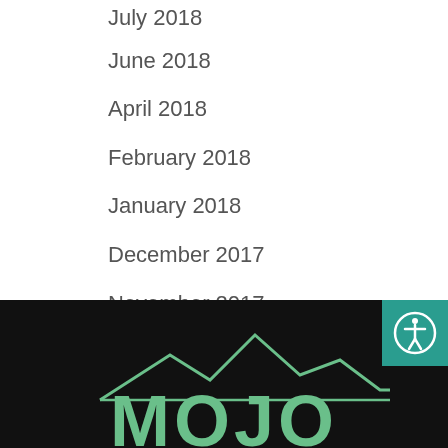July 2018
June 2018
April 2018
February 2018
January 2018
December 2017
November 2017
[Figure (logo): Mojo logo with mountain silhouette on dark background, green text and graphic]